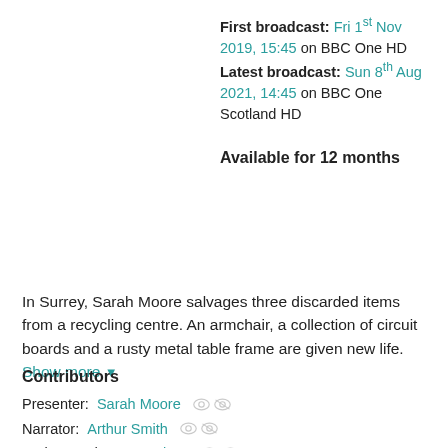First broadcast: Fri 1st Nov 2019, 15:45 on BBC One HD
Latest broadcast: Sun 8th Aug 2021, 14:45 on BBC One Scotland HD
Available for 12 months
In Surrey, Sarah Moore salvages three discarded items from a recycling centre. An armchair, a collection of circuit boards and a rusty metal table frame are given new life. Show more ▼
Contributors
Presenter: Sarah Moore
Narrator: Arthur Smith
Series Producer: Marlon R...